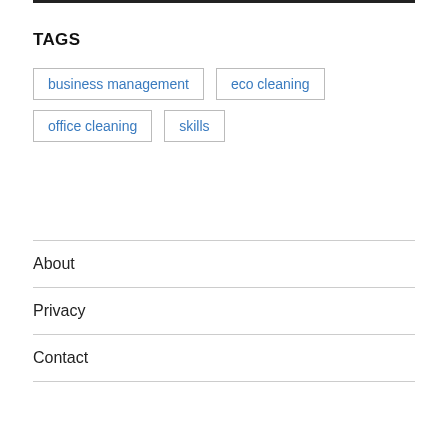TAGS
business management
eco cleaning
office cleaning
skills
About
Privacy
Contact